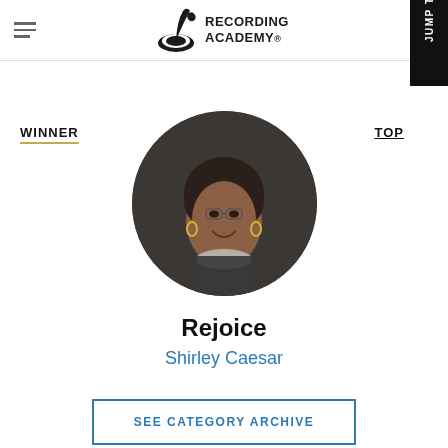Recording Academy
WINNER
TOP
[Figure (photo): Circular portrait photo of Shirley Caesar, an elderly African-American woman with curly dark hair, glasses, hoop earrings, and a pearl necklace, wearing a sparkly dark top, on a dark background.]
Rejoice
Shirley Caesar
SEE CATEGORY ARCHIVE
JUMP TO CATEGORY